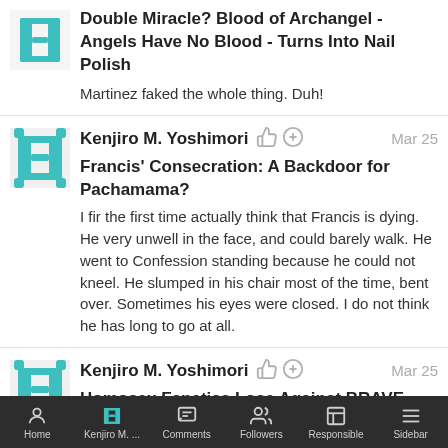Double Miracle? Blood of Archangel - Angels Have No Blood - Turns Into Nail Polish
Martinez faked the whole thing. Duh!
Kenjiro M. Yoshimori  Mar 25
Francis' Consecration: A Backdoor for Pachamama?
I fir the first time actually think that Francis is dying. He very unwell in the face, and could barely walk. He went to Confession standing because he could not kneel. He slumped in his chair most of the time, bent over. Sometimes his eyes were closed. I do not think he has long to go at all.
Kenjiro M. Yoshimori  Mar 25
Homosex Fanatics Lose Against BRAVE Bishop
Bergoglio is a heretic.....plain and simple. No good Catholic should acknowledge him as Pope.